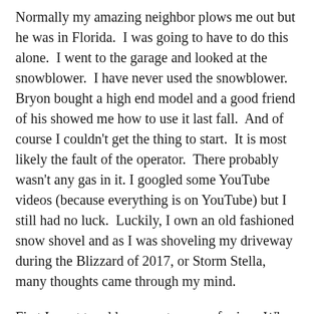Normally my amazing neighbor plows me out but he was in Florida.  I was going to have to do this alone.  I went to the garage and looked at the snowblower.  I have never used the snowblower.  Bryon bought a high end model and a good friend of his showed me how to use it last fall.  And of course I couldn't get the thing to start.  It is most likely the fault of the operator.  There probably wasn't any gas in it. I googled some YouTube videos (because everything is on YouTube) but I still had no luck.  Luckily, I own an old fashioned snow shovel and as I was shoveling my driveway during the Blizzard of 2017, or Storm Stella, many thoughts came through my mind.
First I want to address a pet peeve of mine.  Why are they naming winter storms?  They are not hurricanes.  Naming winter storms is like “Fetch” and they need to